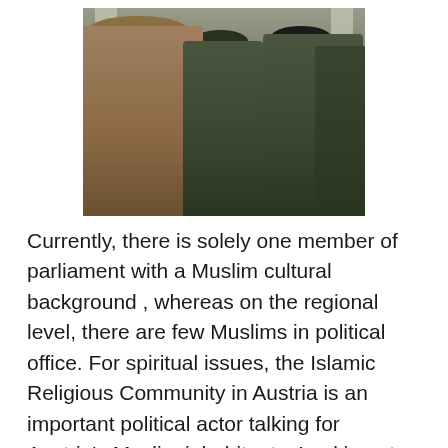[Figure (photo): Military officers in uniform standing together, including one in a tan/olive Italian-style uniform with medals and decorations on the left, and US Army soldiers in green dress uniforms in the center and right, photographed in front of white columns.]
Currently, there is solely one member of parliament with a Muslim cultural background , whereas on the regional level, there are few Muslims in political office. For spiritual issues, the Islamic Religious Community in Austria is an important political actor talking for Austria's Muslim inhabitants. Looking at mainstream parties' attitudes and insurance policies directed in course of Islam, Muslims in Austria till the mid 2000s had been given a confessional ly additional…